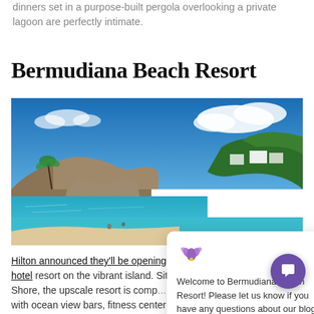dinners set in a purpose-built pergola overlooking a private lagoon are perfectly intimate.
Bermudiana Beach Resort
[Figure (photo): Aerial coastal photo of Bermudiana Beach Resort showing turquoise water, rocky cliffs, sandy beach, palm trees, and white resort buildings under a blue sky with clouds. A chat popup overlay says 'Welcome to Bermudiana Beach Resort! Please let us know if you have any questions about our blog!']
Hilton announced they'll be opening their first con... hotel resort on the vibrant island. Situated on the wonderful South Shore, the upscale resort is comp... with ocean view bars, fitness center infinity pool, beach